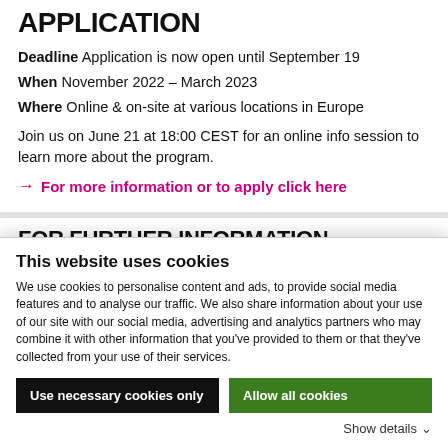APPLICATION
Deadline Application is now open until September 19
When November 2022 – March 2023
Where Online & on-site at various locations in Europe
Join us on June 21 at 18:00 CEST for an online info session to learn more about the program.
→ For more information or to apply click here
FOR FURTHER INFORMATION
This website uses cookies
We use cookies to personalise content and ads, to provide social media features and to analyse our traffic. We also share information about your use of our site with our social media, advertising and analytics partners who may combine it with other information that you've provided to them or that they've collected from your use of their services.
Use necessary cookies only
Allow all cookies
Show details